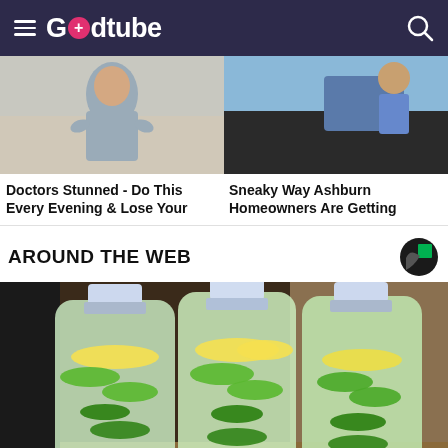Godtube
[Figure (photo): Woman in grey t-shirt (ad thumbnail left)]
[Figure (photo): Man working on roof (ad thumbnail right)]
Doctors Stunned - Do This Every Evening & Lose Your
Sneaky Way Ashburn Homeowners Are Getting
AROUND THE WEB
[Figure (logo): Taboola Sponsored Content logo - dark circle with green square]
[Figure (photo): Three large clear bottles filled with water, cucumber slices, lemon slices, and mint leaves on a counter]